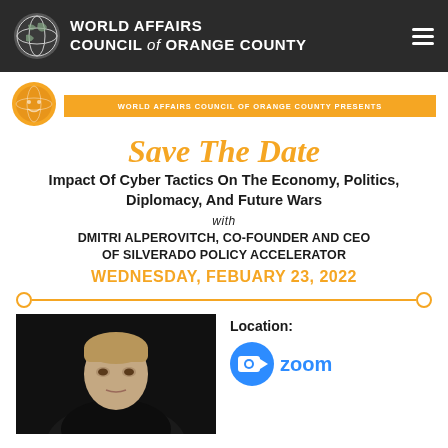World Affairs Council of Orange County
[Figure (logo): World Affairs Council of Orange County logo with globe and orange icon]
WORLD AFFAIRS COUNCIL OF ORANGE COUNTY PRESENTS
Save The Date
Impact of Cyber Tactics on the Economy, Politics, Diplomacy, and Future Wars
with
DMITRI ALPEROVITCH, CO-FOUNDER AND CEO OF SILVERADO POLICY ACCELERATOR
WEDNESDAY, FEBUARY 23, 2022
[Figure (photo): Headshot of Dmitri Alperovitch against dark background]
Location:
[Figure (logo): Zoom logo with blue camera icon and 'zoom' text]